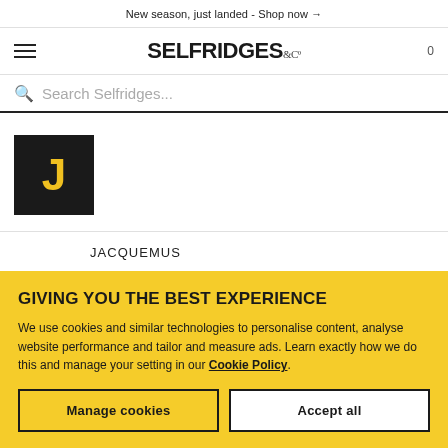New season, just landed - Shop now →
[Figure (logo): Selfridges & Co logo in bold black text with '&CO' in decorative serif style]
[Figure (logo): Jacquemus brand logo: yellow letter J on black square background]
JACQUEMUS
JACQUESSON
GIVING YOU THE BEST EXPERIENCE
We use cookies and similar technologies to personalise content, analyse website performance and tailor and measure ads. Learn exactly how we do this and manage your setting in our Cookie Policy.
Manage cookies
Accept all